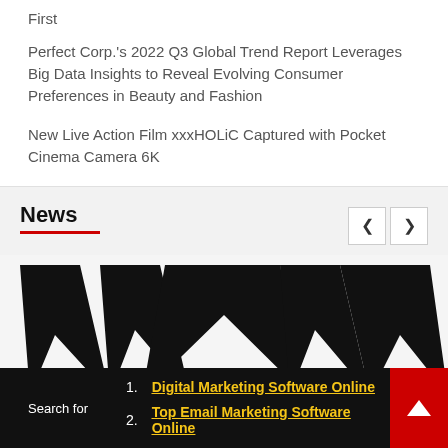First
Perfect Corp.'s 2022 Q3 Global Trend Report Leverages Big Data Insights to Reveal Evolving Consumer Preferences in Beauty and Fashion
New Live Action Film xxxHOLiC Captured with Pocket Cinema Camera 6K
News
[Figure (photo): WWE logo on white background, showing the black stylized W lettershape with sharp spike-like elements]
Search for
1. Digital Marketing Software Online
2. Top Email Marketing Software Online